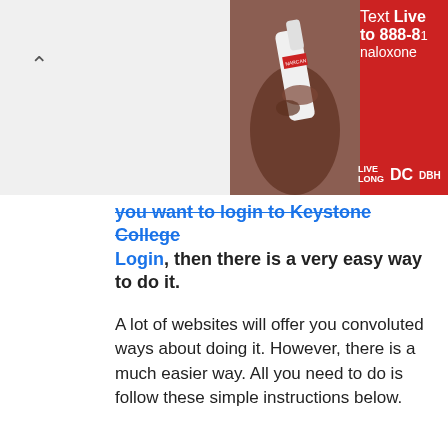[Figure (photo): Red advertisement banner with a hand holding a Narcan nasal spray device, white text reading 'Text Live to 888-8' and 'naloxone', with Live Long DC and DBH logos]
you want to login to Keystone College Login, then there is a very easy way to do it.
A lot of websites will offer you convoluted ways about doing it. However, there is a much easier way. All you need to do is follow these simple instructions below.